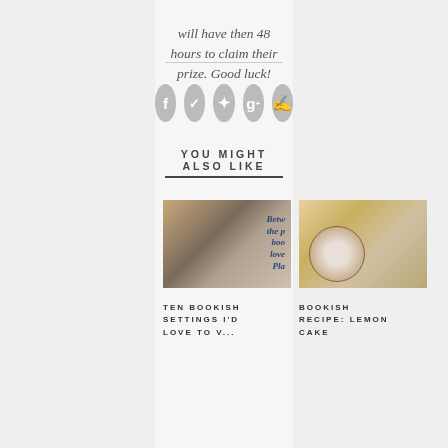will have then 48 hours to claim their prize. Good luck!
[Figure (infographic): Five circular grey social media icon buttons: Facebook (f), Twitter (bird/checkmark), Pinterest (pin), Google+ (g+), and comment/chat bubble]
YOU MIGHT ALSO LIKE
[Figure (photo): Photo of books and a notepad with cursive blue lettering reading 'Between the pages, lovely place' or similar bookish quote]
[Figure (photo): Photo of a lemon cake with powdered sugar on a wooden board, with a notebook, tea mug, and book visible]
TEN BOOKISH SETTINGS I'D LOVE TO V...
BOOKISH RECIPE: LEMON CAKE